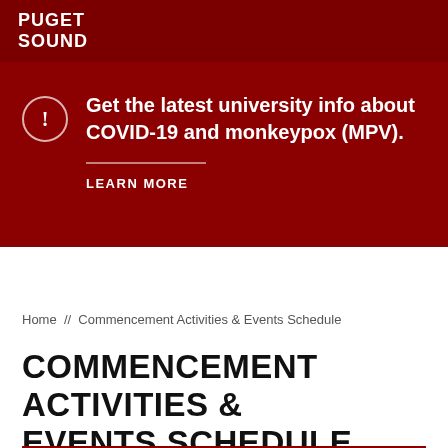PUGET SOUND
Get the latest university info about COVID-19 and monkeypox (MPV).
LEARN MORE
Home // Commencement Activities & Events Schedule
COMMENCEMENT ACTIVITIES & EVENTS SCHEDULE